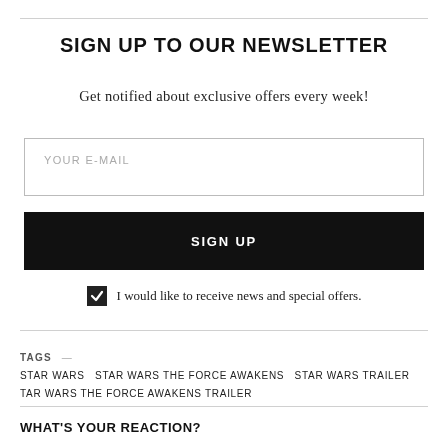SIGN UP TO OUR NEWSLETTER
Get notified about exclusive offers every week!
YOUR E-MAIL
SIGN UP
I would like to receive news and special offers.
TAGS — STAR WARS  STAR WARS THE FORCE AWAKENS  STAR WARS TRAILER  TAR WARS THE FORCE AWAKENS TRAILER
WHAT'S YOUR REACTION?